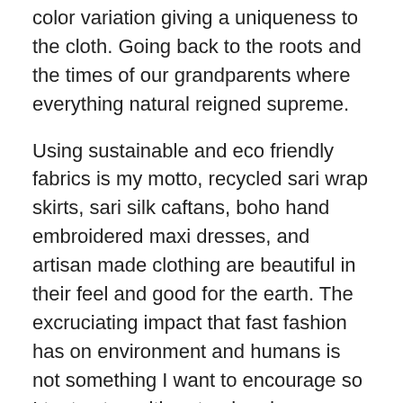color variation giving a uniqueness to the cloth. Going back to the roots and the times of our grandparents where everything natural reigned supreme.
Using sustainable and eco friendly fabrics is my motto, recycled sari wrap skirts, sari silk caftans, boho hand embroidered maxi dresses, and artisan made clothing are beautiful in their feel and good for the earth. The excruciating impact that fast fashion has on environment and humans is not something I want to encourage so I try to stay with natural and handmade clothing.
Ethical fashion creates culture inspired, unique pieces of garments such as chikankari tunics